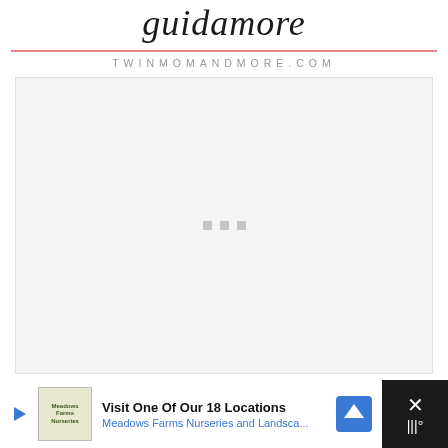guidamore
TWINMOMANDMORE.COM
[Figure (other): Large light gray advertisement placeholder box with three small gray squares in the center (loading indicator)]
Visit One Of Our 18 Locations
Meadows Farms Nurseries and Landsca...